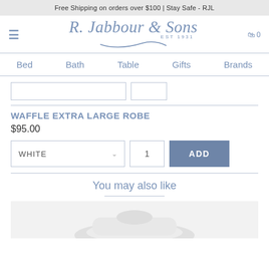Free Shipping on orders over $100 | Stay Safe - RJL
[Figure (logo): R. Jabbour & Sons EST 1931 script logo in blue-grey]
Bed   Bath   Table   Gifts   Brands
WAFFLE EXTRA LARGE ROBE
$95.00
WHITE  [dropdown]  1  [qty]  ADD
You may also like
[Figure (photo): Partial product image of white robe at bottom of page]